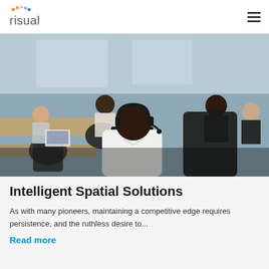[Figure (logo): risual logo with colourful dots above the 'r' — grey-blue and orange/yellow dots]
[Figure (photo): Office environment with a man in a white shirt wearing a headset working at a computer monitor, surrounded by colleagues working at desks in an open-plan office]
Intelligent Spatial Solutions
As with many pioneers, maintaining a competitive edge requires persistence, and the ruthless desire to...
Read more